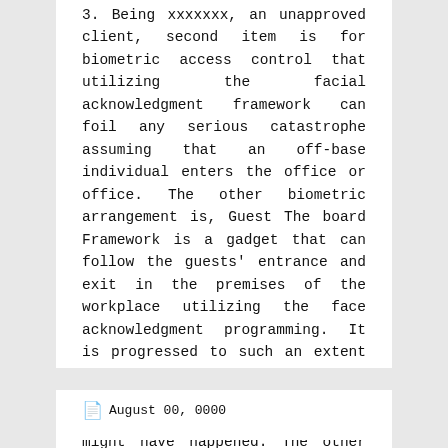3. Using xxxxxxx, an unapproved client, second item is for biometric access control that utilizing the facial acknowledgment framework can foil any serious catastrophe assuming that an off-base individual enters the office or office. The other biometric arrangement is, Guest The board Framework is a gadget that can follow the guests' entrance and exit in the premises of the workplace utilizing the face acknowledgment programming. It is progressed to such an extent that it stores the depiction of the guest, yet additionally records any past visits that might have happened. The other item founded on biometric viewpoint is a period keeping gadget with cutting edge highlights like worker In and Out times, without the requirement for punching or access cards.
August 00, 0000